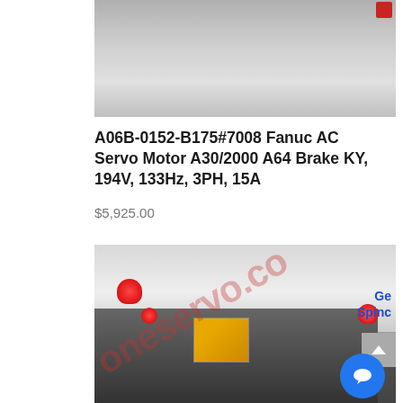[Figure (photo): Top portion of a Fanuc AC Servo Motor product photo, showing the motor against a gray background with a red corner marker]
A06B-0152-B175#7008 Fanuc AC Servo Motor A30/2000 A64 Brake KY, 194V, 133Hz, 3PH, 15A
$5,925.00
[Figure (photo): Photo of Fanuc AC Servo Motor body (dark metal housing) with red protective caps on connectors, yellow warning label, and watermark text 'oneservo.co'. Brand text 'General Spindle' visible in upper right corner. Blue chat bubble and gray scroll-up button overlaid on image.]